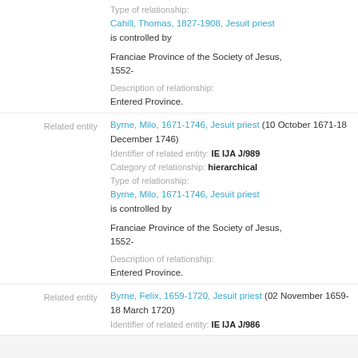Type of relationship: Cahill, Thomas, 1827-1908, Jesuit priest is controlled by Franciae Province of the Society of Jesus, 1552-
Description of relationship: Entered Province.
Related entity: Byrne, Milo, 1671-1746, Jesuit priest (10 October 1671-18 December 1746) Identifier of related entity: IE IJA J/989 Category of relationship: hierarchical Type of relationship: Byrne, Milo, 1671-1746, Jesuit priest is controlled by Franciae Province of the Society of Jesus, 1552-
Description of relationship: Entered Province.
Related entity: Byrne, Felix, 1659-1720, Jesuit priest (02 November 1659-18 March 1720) Identifier of related entity: IE IJA J/986